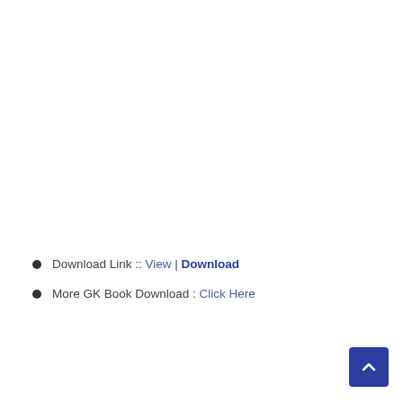Download Link :: View | Download
More GK Book Download : Click Here